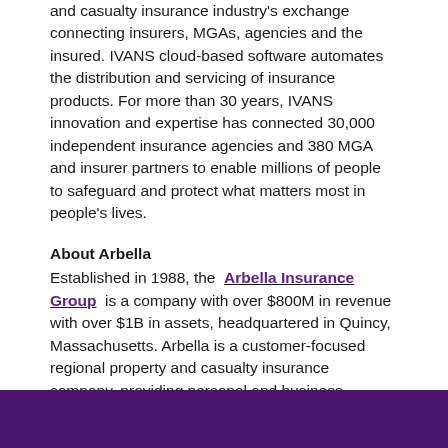and casualty insurance industry's exchange connecting insurers, MGAs, agencies and the insured. IVANS cloud-based software automates the distribution and servicing of insurance products. For more than 30 years, IVANS innovation and expertise has connected 30,000 independent insurance agencies and 380 MGA and insurer partners to enable millions of people to safeguard and protect what matters most in people's lives.
About Arbella
Established in 1988, the Arbella Insurance Group is a company with over $800M in revenue with over $1B in assets, headquartered in Quincy, Massachusetts. Arbella is a customer-focused regional property and casualty insurance company, providing personal and business insurance in Massachusetts and Connecticut and business insurance in Rhode Island and New Hampshire.